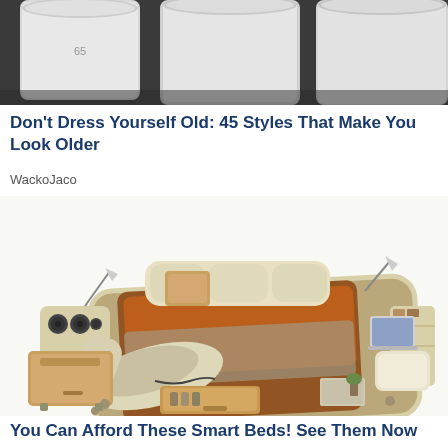[Figure (photo): Top portion showing white cylindrical containers/buckets on a dark surface]
Don't Dress Yourself Old: 45 Styles That Make You Look Older
WackoJaco
[Figure (photo): A luxury smart bed with built-in speakers, lamps, storage drawers, massage chair, and laptop tray, upholstered in beige/cream leather with brown bedding]
You Can Afford These Smart Beds! See Them Now